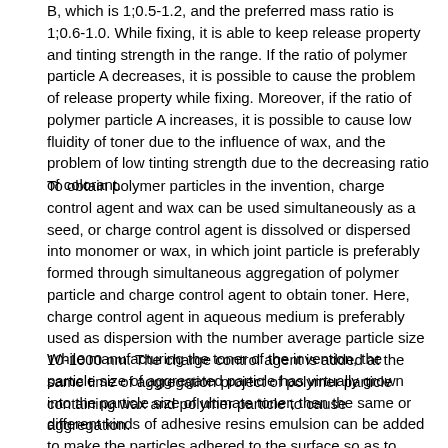B, which is 1;0.5-1.2, and the preferred mass ratio is 1;0.6-1.0. While fixing, it is able to keep release property and tinting strength in the range. If the ratio of polymer particle A decreases, it is possible to cause the problem of release property while fixing. Moreover, if the ratio of polymer particle A increases, it is possible to cause low fluidity of toner due to the influence of wax, and the problem of low tinting strength due to the decreasing ratio of colorant.
To obtain polymer particles in the invention, charge control agent and wax can be used simultaneously as a seed, or charge control agent is dissolved or dispersed into monomer or wax, in which joint particle is preferably formed through simultaneous aggregation of polymer particle and charge control agent to obtain toner. Here, charge control agent in aqueous medium is preferably used as dispersion with the number average particle size 10-1000 nm. The charge control agent is added at the same time of aggregation project of polymer particle containing wax and polymer particle to cause aggregation.
While manufacturing the toner of the invention, the particle size of aggregated particle has virtually grown into the particle size of ultimate toner, then the same or different kinds of adhesive resins emulsion can be added to make the particles adhered to the surface so as to modify the toner properties in the surrounding surface.